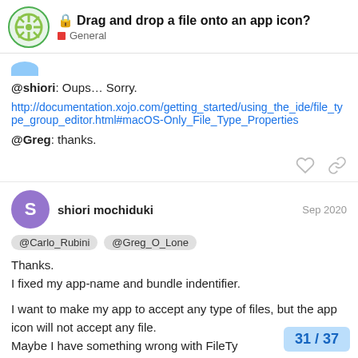🔒 Drag and drop a file onto an app icon? — General
@shiori: Oups… Sorry.
http://documentation.xojo.com/getting_started/using_the_ide/file_type_group_editor.html#macOS-Only_File_Type_Properties
@Greg: thanks.
shiori mochiduki — Sep 2020
@Carlo_Rubini @Greg_O_Lone
Thanks.
I fixed my app-name and bundle indentifier.

I want to make my app to accept any type of files, but the app icon will not accept any file.
Maybe I have something wrong with FileTy...